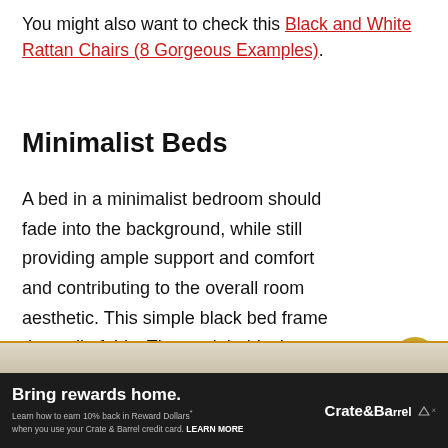You might also want to check this Black and White Rattan Chairs (8 Gorgeous Examples).
Minimalist Beds
A bed in a minimalist bedroom should fade into the background, while still providing ample support and comfort and contributing to the overall room aesthetic. This simple black bed frame does all of this. The straight black lines provide good structural lines to a light-colored room and the extra slats give your mattress all the support it needs.
WHAT'S NEXT → Coastal Home Decor: The...
Bring rewards home. Crate & Barrel. Learn how to earn 10% back in Reward Dollars* when you use your Crate & Barrel credit card. LEARN MORE